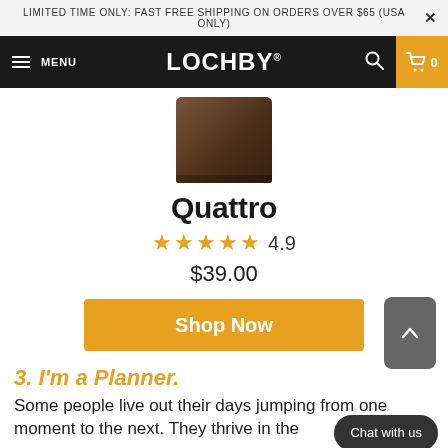LIMITED TIME ONLY: FAST FREE SHIPPING ON ORDERS OVER $65 (USA ONLY)
[Figure (screenshot): Lochby website navigation bar with hamburger menu, LOCHBY logo, search icon, and cart icon with golden background]
[Figure (photo): Dark brown leather Quattro wallet/notebook cover product image]
Quattro
★★★★★ 4.9
$39.00
Shop Now
3. I'm a Planner.
Some people live out their days jumping from one moment to the next. They thrive in the